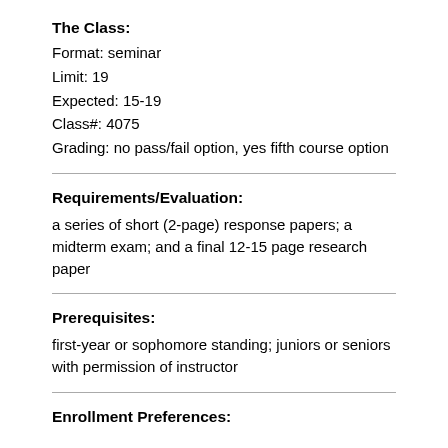The Class:
Format: seminar
Limit: 19
Expected: 15-19
Class#: 4075
Grading: no pass/fail option, yes fifth course option
Requirements/Evaluation:
a series of short (2-page) response papers; a midterm exam; and a final 12-15 page research paper
Prerequisites:
first-year or sophomore standing; juniors or seniors with permission of instructor
Enrollment Preferences: